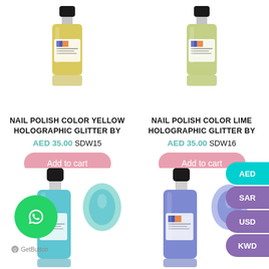[Figure (photo): Nail polish bottle - Yellow Holographic Glitter by Dare to Wear, top portion visible]
NAIL POLISH COLOR YELLOW HOLOGRAPHIC GLITTER BY
AED 35.00 SDW15
Add to cart
[Figure (photo): Nail polish bottle - Lime Holographic Glitter by Dare to Wear, top portion visible]
NAIL POLISH COLOR LIME HOLOGRAPHIC GLITTER BY
AED 35.00 SDW16
Add to cart
[Figure (photo): Nail polish bottle - teal/blue holographic with nail swatch image]
[Figure (photo): Nail polish bottle - blue/purple holographic with nail swatch image]
[Figure (logo): WhatsApp contact button (green circle with phone icon)]
GetButton
AED
SAR
USD
KWD